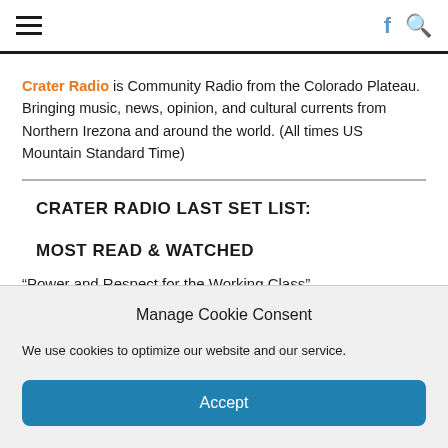Navigation bar with hamburger menu, Facebook icon, and search icon
Crater Radio is Community Radio from the Colorado Plateau. Bringing music, news, opinion, and cultural currents from Northern Irezona and around the world. (All times US Mountain Standard Time)
CRATER RADIO LAST SET LIST:
MOST READ & WATCHED
“Power and Respect for the Working Class”
Manage Cookie Consent
We use cookies to optimize our website and our service.
Accept